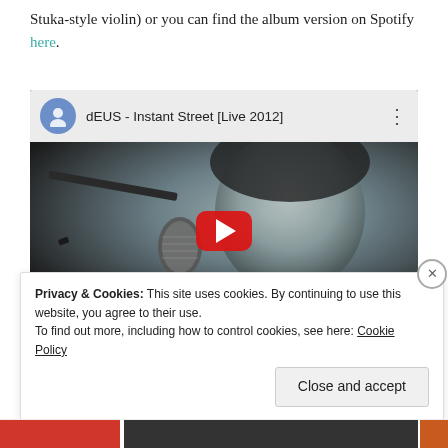Stuka-style violin) or you can find the album version on Spotify here.
[Figure (screenshot): YouTube video embed showing 'dEUS - Instant Street [Live 2012]' with a black and white photo of a singer at a microphone, YouTube play button overlay, and YouTube top bar with avatar, title, and menu dots.]
Privacy & Cookies: This site uses cookies. By continuing to use this website, you agree to their use.
To find out more, including how to control cookies, see here: Cookie Policy
Close and accept